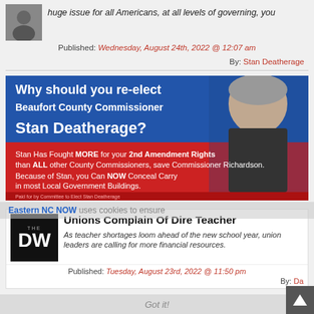huge issue for all Americans, at all levels of governing, you
Published: Wednesday, August 24th, 2022 @ 12:07 am
By: Stan Deatherage
[Figure (infographic): Political campaign advertisement for Stan Deatherage re-election as Beaufort County Commissioner. Blue and red background with photo of Stan Deatherage. Text: 'Why should you re-elect Beaufort County Commissioner Stan Deatherage?' and 'Stan Has Fought MORE for your 2nd Amendment Rights than ALL other County Commissioners, save Commissioner Richardson. Because of Stan, you Can NOW Conceal Carry in most Local Government Buildings. Paid for by Committee to Elect Stan Deatherage.']
Eastern NC NOW uses cookies to ensure your experience on our site is...
[Figure (logo): The DW logo on black background]
Unions Complain Of Dire Teacher
As teacher shortages loom ahead of the new school year, union leaders are calling for more financial resources.
Published: Tuesday, August 23rd, 2022 @ 11:50 pm
By: Da
Got it!